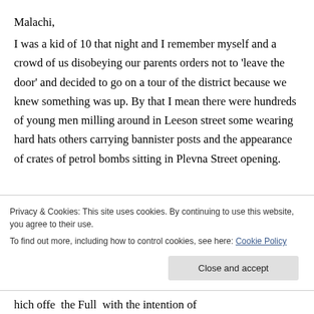Malachi,
I was a kid of 10 that night and I remember myself and a crowd of us disobeying our parents orders not to 'leave the door' and decided to go on a tour of the district because we knew something was up. By that I mean there were hundreds of young men milling around in Leeson street some wearing hard hats others carrying bannister posts and the appearance of crates of petrol bombs sitting in Plevna Street opening.
Privacy & Cookies: This site uses cookies. By continuing to use this website, you agree to their use.
To find out more, including how to control cookies, see here: Cookie Policy
hich offe the Full with the intention of